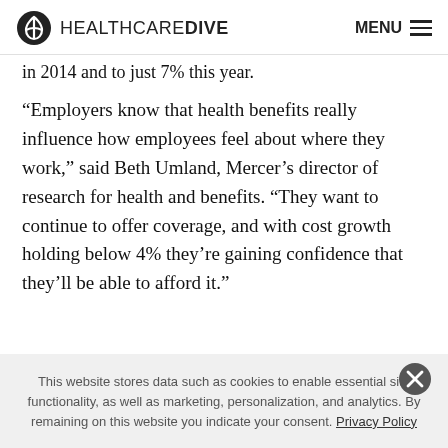HEALTHCARE DIVE  MENU
in 2014 and to just 7% this year.
“Employers know that health benefits really influence how employees feel about where they work,” said Beth Umland, Mercer’s director of research for health and benefits. “They want to continue to offer coverage, and with cost growth holding below 4% they’re gaining confidence that they’ll be able to afford it.”
This website stores data such as cookies to enable essential site functionality, as well as marketing, personalization, and analytics. By remaining on this website you indicate your consent. Privacy Policy